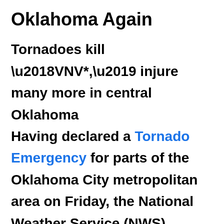Oklahoma Again
Tornadoes kill ‘VNV*,’ injure many more in central Oklahoma
Having declared a Tornado Emergency for parts of the Oklahoma City metropolitan area on Friday, the National Weather Service (NWS) warned early Saturday that “Life-threatening” flash flooding conditions could be expected